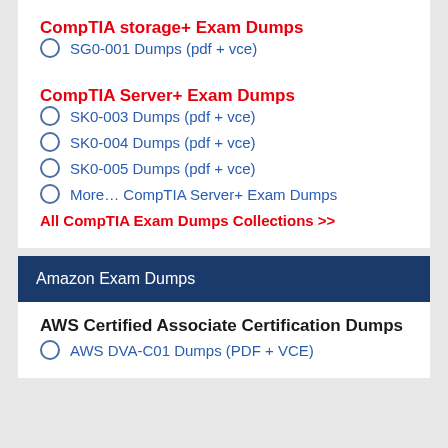CompTIA storage+ Exam Dumps
SG0-001 Dumps (pdf + vce)
CompTIA Server+ Exam Dumps
SK0-003 Dumps (pdf + vce)
SK0-004 Dumps (pdf + vce)
SK0-005 Dumps (pdf + vce)
More… CompTIA Server+ Exam Dumps
All CompTIA Exam Dumps Collections >>
Amazon Exam Dumps
AWS Certified Associate Certification Dumps
AWS DVA-C01 Dumps (PDF + VCE)